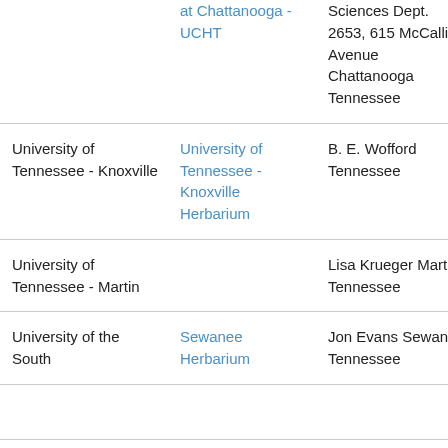| Institution | Collection | Contact/Location | Email |
| --- | --- | --- | --- |
|  | at Chattanooga - UCHT | Sciences Dept. 2653, 615 McCallie Avenue Chattanooga Tennessee |  |
| University of Tennessee - Knoxville | University of Tennessee - Knoxville Herbarium | B. E. Wofford Tennessee | bewo |
| University of Tennessee - Martin |  | Lisa Krueger Martin Tennessee | lkrue |
| University of the South | Sewanee Herbarium | Jon Evans Sewanee Tennessee | jevan |